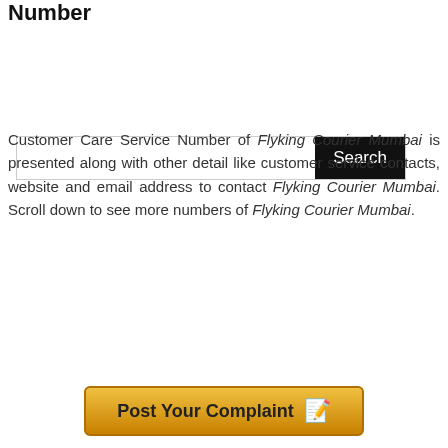Number
[Figure (screenshot): Search bar with text input field and black Search button]
Customer Care Service Number of Flyking Courier Mumbai is presented along with other detail like customer service contacts, website and email address to contact Flyking Courier Mumbai. Scroll down to see more numbers of Flyking Courier Mumbai.
[Figure (infographic): Post Your Complaint button with notepad and pencil icon, golden gradient background]